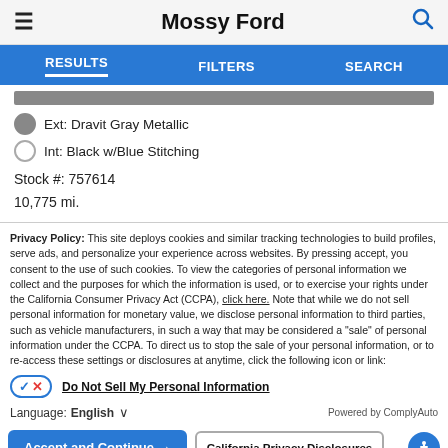Mossy Ford
RESULTS   FILTERS   SEARCH
Ext: Dravit Gray Metallic
Int: Black w/Blue Stitching
Stock #: 757614
10,775 mi.
Privacy Policy: This site deploys cookies and similar tracking technologies to build profiles, serve ads, and personalize your experience across websites. By pressing accept, you consent to the use of such cookies. To view the categories of personal information we collect and the purposes for which the information is used, or to exercise your rights under the California Consumer Privacy Act (CCPA), click here. Note that while we do not sell personal information for monetary value, we disclose personal information to third parties, such as vehicle manufacturers, in such a way that may be considered a "sale" of personal information under the CCPA. To direct us to stop the sale of your personal information, or to re-access these settings or disclosures at anytime, click the following icon or link:
Do Not Sell My Personal Information
Language: English
Powered by ComplyAuto
Accept and Continue →   California Privacy Disclosures